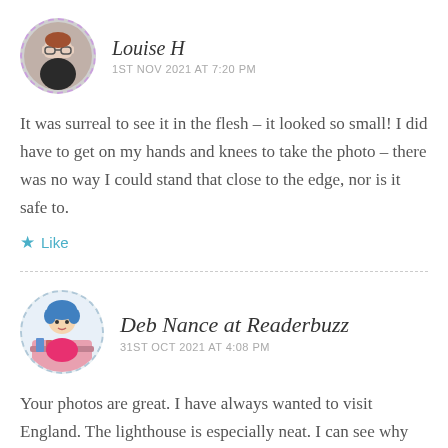[Figure (photo): Circular avatar photo of Louise H with dashed purple border]
Louise H
1ST NOV 2021 AT 7:20 PM
It was surreal to see it in the flesh – it looked so small! I did have to get on my hands and knees to take the photo – there was no way I could stand that close to the edge, nor is it safe to.
Like
[Figure (illustration): Circular avatar illustration of Deb Nance at Readerbuzz with dashed border]
Deb Nance at Readerbuzz
31ST OCT 2021 AT 4:08 PM
Your photos are great. I have always wanted to visit England. The lighthouse is especially neat. I can see why